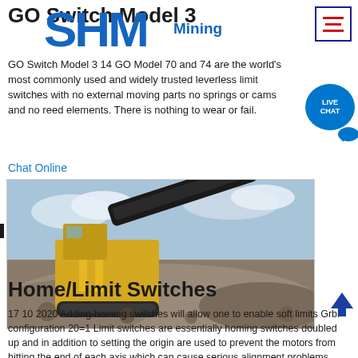GO Switch Model 3
[Figure (logo): SHM Mining blue logo overlaid on page header]
GO Switch Model 3 14 GO Model 70 and 74 are the world's most commonly used and widely trusted leverless limit switches with no external moving parts no springs or cams and no reed elements. There is nothing to wear or fail.
Chat Online
[Figure (photo): Yellow industrial mining crusher/screener machine working on a large pile of crushed rock/gravel outdoors under a cloudy sky]
Home/Limit Switches
17 10 2020  Adding homing switches will allow one to enable soft limits Grbl configuration 20=1 Limit switches are essentially homing switches doubled up and in addition to setting the origin are used to prevent the motors from hitting the end of each axis which can cause serious alignment problems potentially serious damage to your